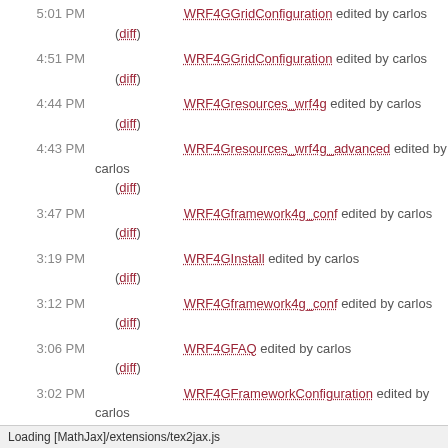5:01 PM WRF4GGridConfiguration edited by carlos (diff)
4:51 PM WRF4GGridConfiguration edited by carlos (diff)
4:44 PM WRF4Gresources_wrf4g edited by carlos (diff)
4:43 PM WRF4Gresources_wrf4g_advanced edited by carlos (diff)
3:47 PM WRF4Gframework4g_conf edited by carlos (diff)
3:19 PM WRF4GInstall edited by carlos (diff)
3:12 PM WRF4Gframework4g_conf edited by carlos (diff)
3:06 PM WRF4GFAQ edited by carlos (diff)
3:02 PM WRF4GFrameworkConfiguration edited by carlos (diff)
2:58 PM WRF4GTutorial edited by carlos
Loading [MathJax]/extensions/tex2jax.js